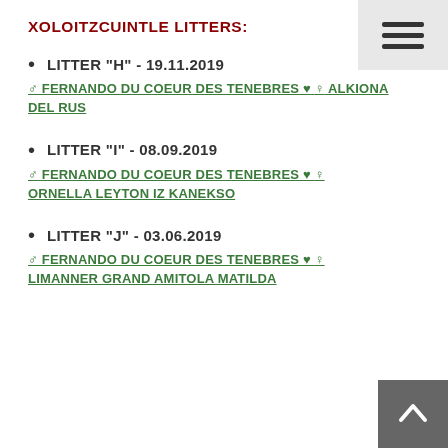XOLOITZCUINTLE LITTERS:
LITTER "H" - 19.11.2019
♂ FERNANDO DU COEUR DES TENEBRES ♥ ♀ ALKIONA DEL RUS
LITTER "I" - 08.09.2019
♂ FERNANDO DU COEUR DES TENEBRES ♥ ♀ ORNELLA LEYTON IZ KANEKSO
LITTER "J" - 03.06.2019
♂ FERNANDO DU COEUR DES TENEBRES ♥ ♀ LIMANNER GRAND AMITOLA MATILDA